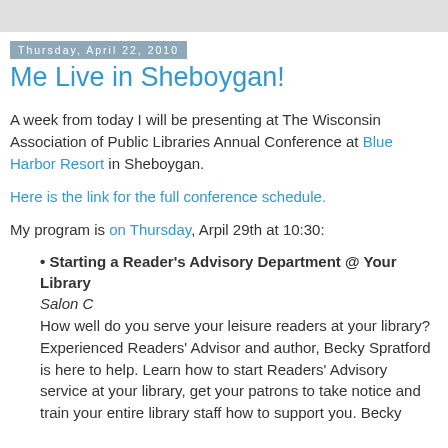Thursday, April 22, 2010
Me Live in Sheboygan!
A week from today I will be presenting at The Wisconsin Association of Public Libraries Annual Conference at Blue Harbor Resort in Sheboygan.
Here is the link for the full conference schedule.
My program is on Thursday, Arpil 29th at 10:30:
Starting a Reader's Advisory Department @ Your Library
Salon C
How well do you serve your leisure readers at your library? Experienced Readers' Advisor and author, Becky Spratford is here to help. Learn how to start Readers' Advisory service at your library, get your patrons to take notice and train your entire library staff how to support you. Becky